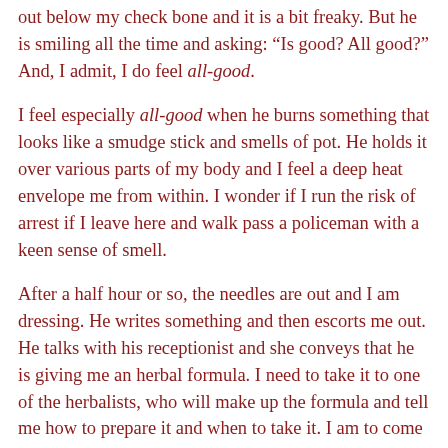out below my check bone and it is a bit freaky. But he is smiling all the time and asking: "Is good? All good?" And, I admit, I do feel all-good.
I feel especially all-good when he burns something that looks like a smudge stick and smells of pot. He holds it over various parts of my body and I feel a deep heat envelope me from within. I wonder if I run the risk of arrest if I leave here and walk pass a policeman with a keen sense of smell.
After a half hour or so, the needles are out and I am dressing. He writes something and then escorts me out. He talks with his receptionist and she conveys that he is giving me an herbal formula. I need to take it to one of the herbalists, who will make up the formula and tell me how to prepare it and when to take it. I am to come back to see